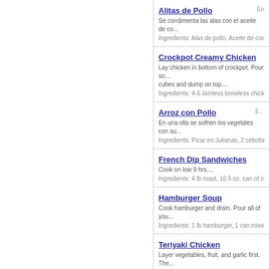Alitas de Pollo
Se condimenta las alas con el aceite de co...
Ingredients: Alas de pollo, Aceite de cocina, M...
Crockpot Creamy Chicken
Lay chicken in bottom of crockpot. Pour so... cubes and dump on top....
Ingredients: 4-6 skinless boneless chicken brea...
Arroz con Pollo
En una olla se sofrien los vegetales con su...
Ingredients: Picar en Julianas, 2 cebollas rojas,...
French Dip Sandwiches
Cook on low 9 hrs....
Ingredients: 4 lb roast, 10.5 oz. can of condense...
Hamburger Soup
Cook hamburger and drain. Pour all of you...
Ingredients: 1 lb hamburger, 1 can mixed veget...
Teriyaki Chicken
Layer vegetables, fruit, and garlic first. The...
Ingredients: 4 chiken breast or 6 thighs, 1 smal... chunks...
Chicken Taco Crockpot Stuff...
Put chicken in bottom of crockpot Mix ever...
Ingredients: 4 chicken breast, 1 can rotel, 1 can...